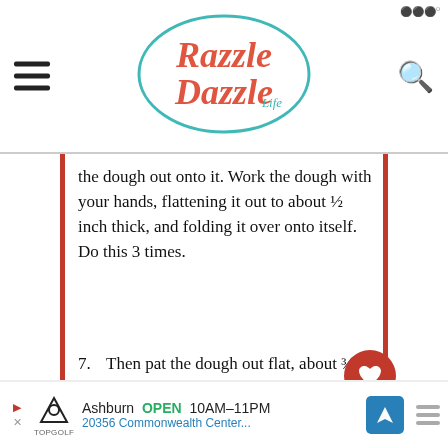Razzle Dazzle Life
the dough out onto it. Work the dough with your hands, flattening it out to about ½ inch thick, and folding it over onto itself. Do this 3 times.
7. Then pat the dough out flat, about ¾" thick. Use a 2 ½ inch biscuit cutter, or glass to cut out the biscuits out of the dough. Gather the scraps together and pat them out flat to cut out the remaining dough.
8. Add the biscuits to the buttered
Ashburn OPEN 10AM–11PM 20356 Commonwealth Center...